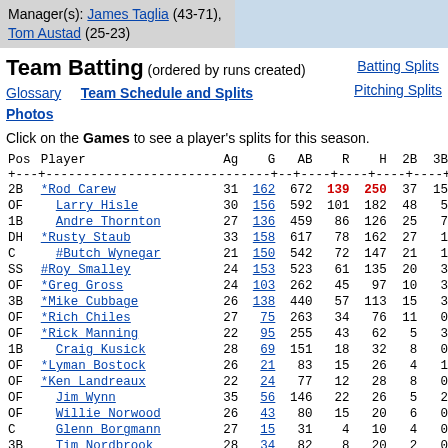Manager(s): James Taglia (43-71), Tom Austad (25-23)
Team Batting (ordered by runs created)
Batting Splits
Pitching Splits
Glossary   Team Schedule and Splits
Photos
Click on the Games to see a player's splits for this season.
| Pos | Player | Ag | G | AB | R | H | 2B | 3B |
| --- | --- | --- | --- | --- | --- | --- | --- | --- |
| 2B | *Rod Carew | 31 | 162 | 672 | 139 | 250 | 37 | 15 |
| OF | Larry Hisle | 30 | 156 | 592 | 101 | 182 | 48 | 5 |
| 1B | Andre Thornton | 27 | 136 | 459 | 86 | 126 | 25 | 7 |
| DH | *Rusty Staub | 33 | 158 | 617 | 78 | 162 | 27 | 1 |
| C | #Butch Wynegar | 21 | 150 | 542 | 72 | 147 | 21 | 1 |
| SS | #Roy Smalley | 24 | 153 | 523 | 61 | 135 | 20 | 3 |
| OF | *Greg Gross | 24 | 103 | 262 | 45 | 97 | 10 | 3 |
| 3B | *Mike Cubbage | 26 | 138 | 440 | 57 | 113 | 15 | 3 |
| OF | *Rich Chiles | 27 | 75 | 263 | 34 | 76 | 11 | 0 |
| OF | *Rick Manning | 22 | 95 | 255 | 43 | 62 | 5 | 3 |
| 1B | Craig Kusick | 28 | 69 | 151 | 18 | 32 | 8 | 0 |
| OF | *Lyman Bostock | 26 | 21 | 83 | 15 | 26 | 4 | 1 |
| OF | *Ken Landreaux | 22 | 24 | 77 | 12 | 28 | 8 | 0 |
| OF | Jim Wynn | 35 | 56 | 146 | 22 | 26 | 5 | 2 |
| OF | Willie Norwood | 26 | 43 | 80 | 15 | 20 | 6 | 0 |
| C | Glenn Borgmann | 27 | 15 | 31 | 4 | 10 | 4 | 0 |
| 3B | Tim Nordbrook | 28 | 34 | 82 | 8 | 20 | 2 | 0 |